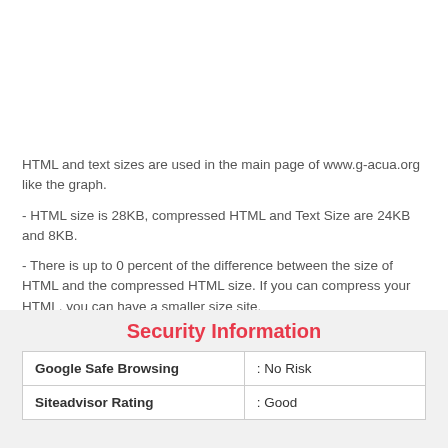HTML and text sizes are used in the main page of www.g-acua.org like the graph.
- HTML size is 28KB, compressed HTML and Text Size are 24KB and 8KB.
- There is up to 0 percent of the difference between the size of HTML and the compressed HTML size. If you can compress your HTML, you can have a smaller size site.
Security Information
|  |  |
| --- | --- |
| Google Safe Browsing | : No Risk |
| Siteadvisor Rating | : Good |